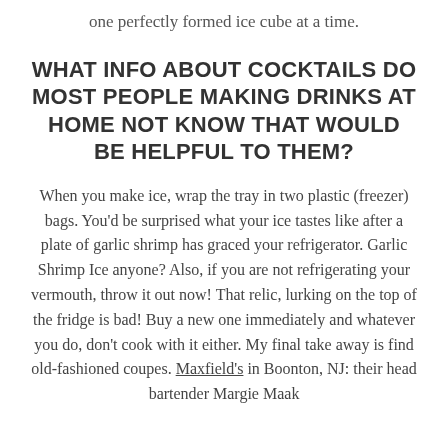one perfectly formed ice cube at a time.
WHAT INFO ABOUT COCKTAILS DO MOST PEOPLE MAKING DRINKS AT HOME NOT KNOW THAT WOULD BE HELPFUL TO THEM?
When you make ice, wrap the tray in two plastic (freezer) bags. You'd be surprised what your ice tastes like after a plate of garlic shrimp has graced your refrigerator. Garlic Shrimp Ice anyone? Also, if you are not refrigerating your vermouth, throw it out now! That relic, lurking on the top of the fridge is bad! Buy a new one immediately and whatever you do, don't cook with it either. My final take away is find old-fashioned coupes. Maxfield's in Boonton, NJ: their head bartender Margie Maak